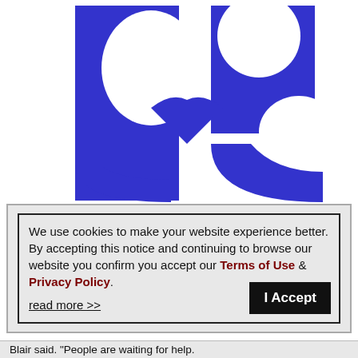[Figure (logo): Blue and white abstract logo resembling stylized figures or letters, on white background]
We use cookies to make your website experience better. By accepting this notice and continuing to browse our website you confirm you accept our Terms of Use & Privacy Policy.

read more >>    I Accept
Blair said. "People are waiting for help."